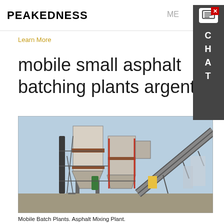PEAKEDNESS | ME... CHAT
Learn More
mobile small asphalt batching plants argentina
[Figure (photo): Industrial mobile asphalt batching plant with conveyors, silos, and steel framework against a clear sky background.]
Mobile Batch Plants. Asphalt Mixing Plant.
Asphalt mixing plant is the key equipment in